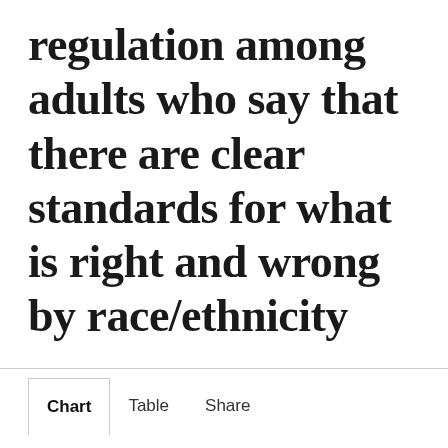regulation among adults who say that there are clear standards for what is right and wrong by race/ethnicity
Chart | Table | Share